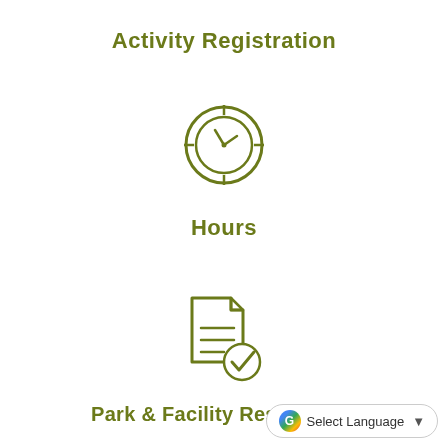Activity Registration
[Figure (illustration): Clock icon with crosshair/target overlay, drawn in olive/dark yellow color]
Hours
[Figure (illustration): Document with lines icon and a checkmark circle badge, drawn in olive/dark yellow color]
Park & Facility Reservation
Select Language